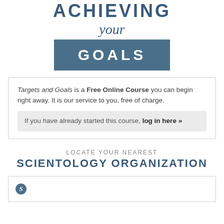ACHIEVING
your
GOALS
Targets and Goals is a Free Online Course you can begin right away. It is our service to you, free of charge.

If you have already started this course, log in here »
LOCATE YOUR NEAREST
SCIENTOLOGY ORGANIZATION